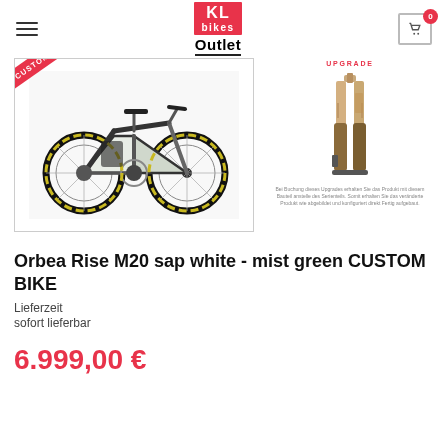KL bikes Outlet — navigation header with hamburger menu, logo, and cart icon
[Figure (photo): Orbea Rise M20 electric mountain bike in sap white and mist green, with a red CUSTOM BIKE diagonal badge in the top-left corner of the image frame]
[Figure (photo): Mountain bike fork upgrade product image with UPGRADE label in red above]
Small descriptive caption text below the fork upgrade image (partially legible)
Orbea Rise M20 sap white - mist green CUSTOM BIKE
Lieferzeit
sofort lieferbar
6.999,00 €